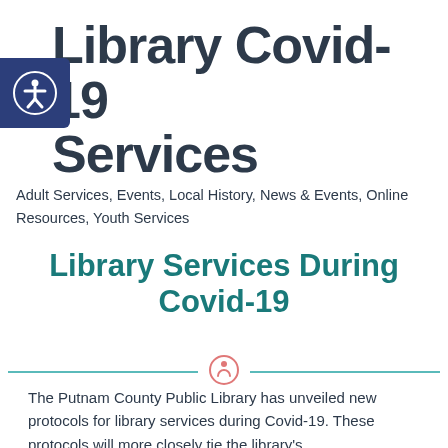Library Covid-19 Services
Adult Services, Events, Local History, News & Events, Online Resources, Youth Services
Library Services During Covid-19
The Putnam County Public Library has unveiled new protocols for library services during Covid-19. These protocols will more closely tie the library's